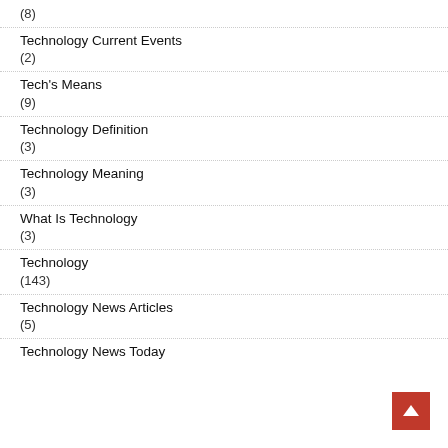(8)
Technology Current Events
(2)
Tech's Means
(9)
Technology Definition
(3)
Technology Meaning
(3)
What Is Technology
(3)
Technology
(143)
Technology News Articles
(5)
Technology News Today